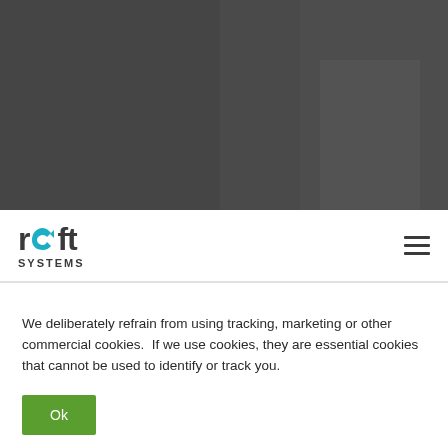[Figure (photo): Dark gray background image occupying the top portion of the page]
[Figure (logo): Reft Systems logo with teal arrow graphic and 'SYSTEMS' text below, with hamburger menu icon on right]
We deliberately refrain from using tracking, marketing or other commercial cookies.  If we use cookies, they are essential cookies that cannot be used to identify or track you.
Ok